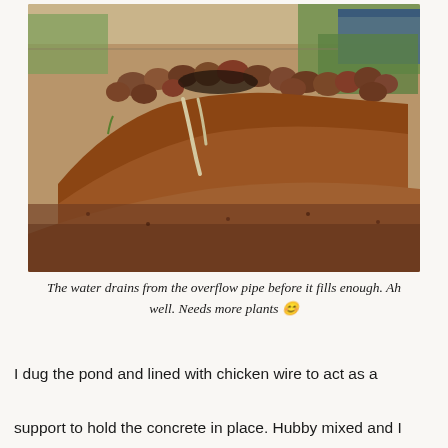[Figure (photo): Outdoor garden area showing a mound of reddish-brown soil and gravel with rocks arranged along the top edge forming a border, some PVC pipe visible in the soil, green shrubs and plants in the background, blue shed/structure partially visible on the right, and a fence line in the distance.]
The water drains from the overflow pipe before it fills enough. Ah well. Needs more plants 😊
I dug the pond and lined with chicken wire to act as a support to hold the concrete in place. Hubby mixed and I poured and smoothed. Papan macho at it's finest.